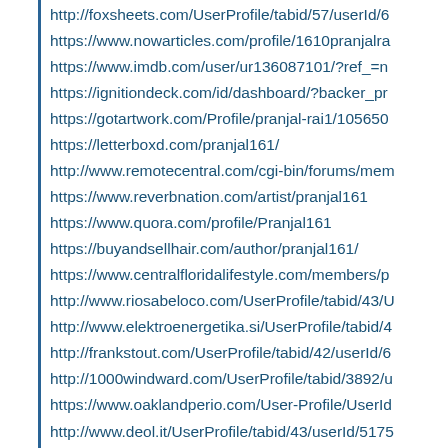http://foxsheets.com/UserProfile/tabid/57/userId/6...
https://www.nowarticles.com/profile/1610pranjalra...
https://www.imdb.com/user/ur136087101/?ref_=n...
https://ignitiondeck.com/id/dashboard/?backer_pr...
https://gotartwork.com/Profile/pranjal-rai1/105650...
https://letterboxd.com/pranjal161/
http://www.remotecentral.com/cgi-bin/forums/mem...
https://www.reverbnation.com/artist/pranjal161
https://www.quora.com/profile/Pranjal161
https://buyandsellhair.com/author/pranjal161/
https://www.centralfloridalifestyle.com/members/p...
http://www.riosabeloco.com/UserProfile/tabid/43/U...
http://www.elektroenergetika.si/UserProfile/tabid/4...
http://frankstout.com/UserProfile/tabid/42/userId/6...
http://1000windward.com/UserProfile/tabid/3892/u...
https://www.oaklandperio.com/User-Profile/UserId...
http://www.deol.it/UserProfile/tabid/43/userId/5175...
https://bsl24.de/Activity-Feed/My-Profile/UserId/10...
https://www.avianwaves.com/User-Profile/userId/3...
https://www.bassettiphoto.com/User-Profile/userId...
http://dpkofcorg00.web708.discountasp.net/home...
https://www.kill-tilt.fr/forums/users/pranjal161/
https://starity.hu/profil/298654-pranjal161/
https://feedit.agfunder.com/user/pranjal161
https://notionpress.com/author/399553/